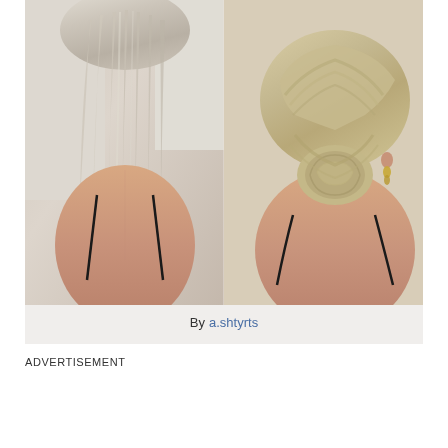[Figure (photo): Side-by-side photo collage showing two hairstyles from the back. Left side: a woman with straight, sleek blonde/ash hair worn down. Right side: a woman with an elegant braided updo twisted into a low chignon, wearing a small leaf-shaped earring. Both women are wearing black spaghetti-strap tops.]
By a.shtyrts
ADVERTISEMENT